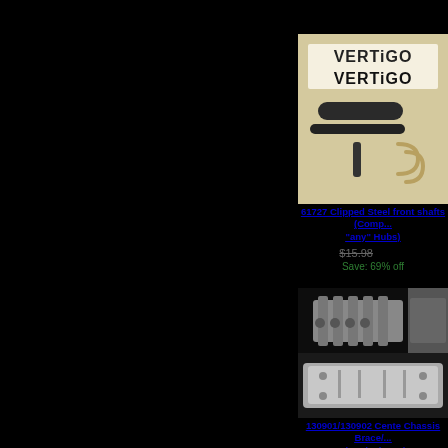[Figure (photo): Product image showing Vertigo branded stickers/decals on beige background, and below that metal shafts and clips (RC car parts)]
61727 Clipped Steel front shafts (Comp... "any" Hubs)
$15.98  $4.95
Save: 69% off
[Figure (photo): Two photos of RC car chassis brace/plate parts (Vekta .5)]
130901/130902 Cente Chassis Brace/... plate (Vekta .5)
$110.00  $55.00